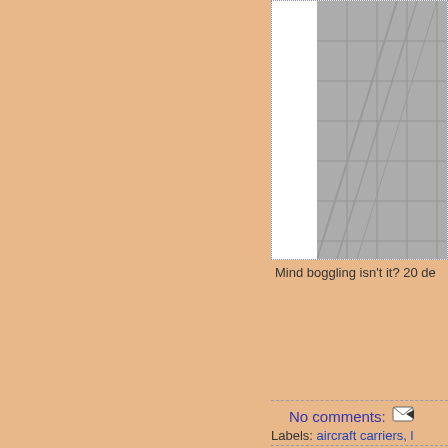[Figure (photo): Grayscale photo of what appears to be an aircraft carrier deck or airport terminal structure]
Mind boggling isn't it? 20 de
No comments:
Labels: aircraft carriers, l
Monday, April 18, 2011
"My taxes are too h
My taxes are too high